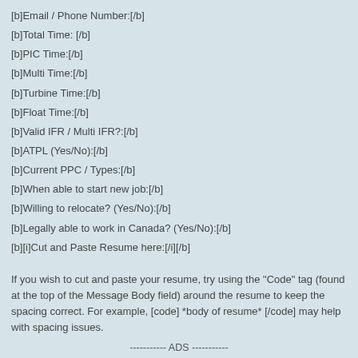[b]Email / Phone Number:[/b]
[b]Total Time: [/b]
[b]PIC Time:[/b]
[b]Multi Time:[/b]
[b]Turbine Time:[/b]
[b]Float Time:[/b]
[b]Valid IFR / Multi IFR?:[/b]
[b]ATPL (Yes/No):[/b]
[b]Current PPC / Types:[/b]
[b]When able to start new job:[/b]
[b]Willing to relocate? (Yes/No):[/b]
[b]Legally able to work in Canada? (Yes/No):[/b]
[b][i]Cut and Paste Resume here:[/i][/b]
If you wish to cut and paste your resume, try using the "Code" tag (found at the top of the Message Body field) around the resume to keep the spacing correct. For example, [code] *body of resume* [/code] may help with spacing issues.
----------- ADS -----------